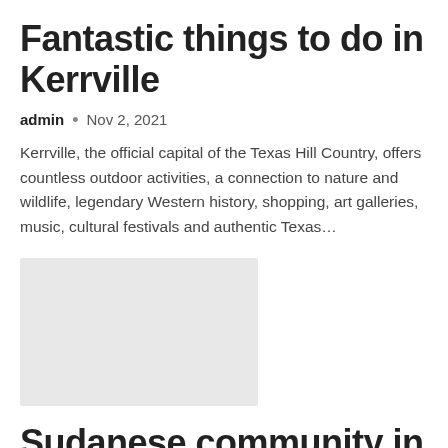Fantastic things to do in Kerrville
admin • Nov 2, 2021
Kerrville, the official capital of the Texas Hill Country, offers countless outdoor activities, a connection to nature and wildlife, legendary Western history, shopping, art galleries, music, cultural festivals and authentic Texas…
[Figure (photo): Placeholder image (light gray rectangle)]
Sudanese community in northern Alabama raises